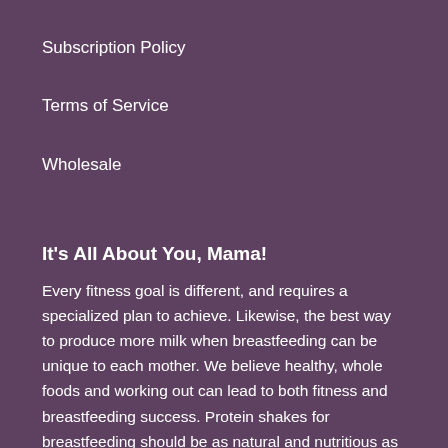Subscription Policy
Terms of Service
Wholesale
It's All About You, Mama!
Every fitness goal is different, and requires a specialized plan to achieve. Likewise, the best way to produce more milk when breastfeeding can be unique to each mother. We believe healthy, whole foods and working out can lead to both fitness and breastfeeding success. Protein shakes for breastfeeding should be as natural and nutritious as possible. And nutrition for sports performance shouldn't be loaded with questionable substances. We make Mama Love®